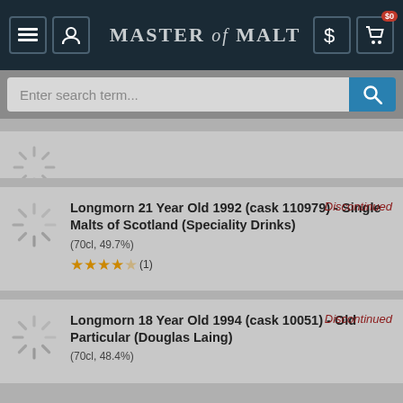Master of Malt
Enter search term...
Longmorn 21 Year Old 1992 (cask 110979) - Single Malts of Scotland (Speciality Drinks)
(70cl, 49.7%)
Rating: 3.5/5 (1 review)
Discontinued
Longmorn 18 Year Old 1994 (cask 10051) - Old Particular (Douglas Laing)
(70cl, 48.4%)
Discontinued